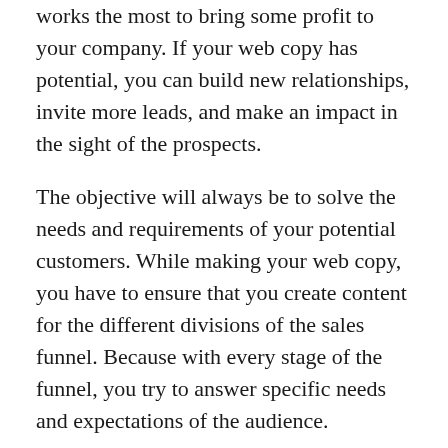works the most to bring some profit to your company. If your web copy has potential, you can build new relationships, invite more leads, and make an impact in the sight of the prospects.
The objective will always be to solve the needs and requirements of your potential customers. While making your web copy, you have to ensure that you create content for the different divisions of the sales funnel. Because with every stage of the funnel, you try to answer specific needs and expectations of the audience.
A web copy goes a long way from spreading awareness, getting attention, and converting the users to customers. What you have to do is to introduce your prospects to your services, spread your message, and encourage the target audience to